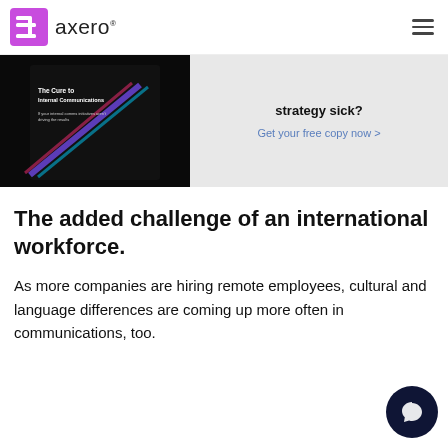axero
[Figure (screenshot): Axero website banner showing a book cover 'The Cure to Internal Communications' on a dark background on the left, and promotional text 'strategy sick? Get your free copy now >' on the right, on a light gray background.]
The added challenge of an international workforce.
As more companies are hiring remote employees, cultural and language differences are coming up more often in communications, too.